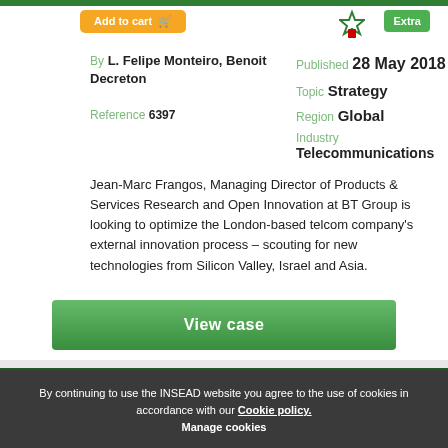Add to cart
By L. Felipe Monteiro, Benoit Decreton
Reference 6397
Published 28 May 2018
Topic Strategy
Region Global
Industry Telecommunications
Jean-Marc Frangos, Managing Director of Products & Services Research and Open Innovation at BT Group is looking to optimize the London-based telcom company's external innovation process – scouting for new technologies from Silicon Valley, Israel and Asia.
View case
China's "Furious Five" Smartphones: Huawei,
By continuing to use the INSEAD website you agree to the use of cookies in accordance with our Cookie policy.
Manage cookies